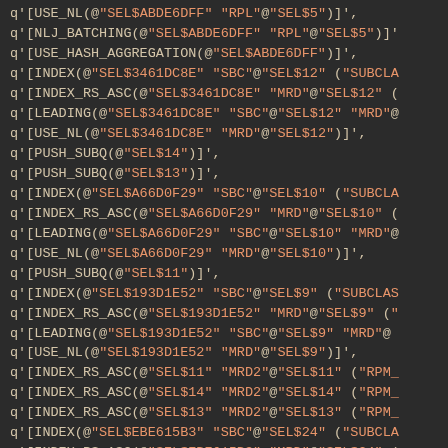q'[USE_NL(@"SEL$ABDE6DFF" "RPL"@"SEL$5")]',
q'[NLJ_BATCHING(@"SEL$ABDE6DFF" "RPL"@"SEL$5")]'
q'[USE_HASH_AGGREGATION(@"SEL$ABDE6DFF")]',
q'[INDEX(@"SEL$3461DC8E" "SBC"@"SEL$12" ("SUBCLA
q'[INDEX_RS_ASC(@"SEL$3461DC8E" "MRD"@"SEL$12" (
q'[LEADING(@"SEL$3461DC8E" "SBC"@"SEL$12" "MRD"@
q'[USE_NL(@"SEL$3461DC8E" "MRD"@"SEL$12")]',
q'[PUSH_SUBQ(@"SEL$14")]',
q'[PUSH_SUBQ(@"SEL$13")]',
q'[INDEX(@"SEL$A66D0F29" "SBC"@"SEL$10" ("SUBCLA
q'[INDEX_RS_ASC(@"SEL$A66D0F29" "MRD"@"SEL$10" (
q'[LEADING(@"SEL$A66D0F29" "SBC"@"SEL$10" "MRD"@
q'[USE_NL(@"SEL$A66D0F29" "MRD"@"SEL$10")]',
q'[PUSH_SUBQ(@"SEL$11")]',
q'[INDEX(@"SEL$193D1E52" "SBC"@"SEL$9" ("SUBCLAS
q'[INDEX_RS_ASC(@"SEL$193D1E52" "MRD"@"SEL$9" ("
q'[LEADING(@"SEL$193D1E52" "SBC"@"SEL$9" "MRD"@
q'[USE_NL(@"SEL$193D1E52" "MRD"@"SEL$9")]',
q'[INDEX_RS_ASC(@"SEL$11" "MRD2"@"SEL$11" ("RPM_
q'[INDEX_RS_ASC(@"SEL$14" "MRD2"@"SEL$14" ("RPM_
q'[INDEX_RS_ASC(@"SEL$13" "MRD2"@"SEL$13" ("RPM_
q'[INDEX(@"SEL$EBE615B3" "SBC"@"SEL$24" ("SUBCLA
q'[INDEX_RS_ASC(@"SEL$EBE615B3" "MRD"@"SEL$24" (
q'[LEADING(@"SEL$EBE615B3" "SBC"@"SEL$24" "MRD"@